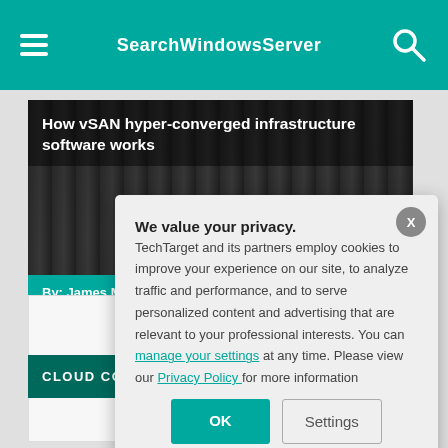SearchWindowsServer
How vSAN hyper-converged infrastructure software works
By: James Miller
-ADS BY GOOGLE
CLOUD COMPUTING
We value your privacy. TechTarget and its partners employ cookies to improve your experience on our site, to analyze traffic and performance, and to serve personalized content and advertising that are relevant to your professional interests. You can manage your settings at any time. Please view our Privacy Policy for more information